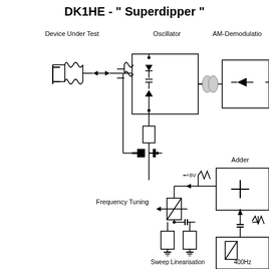DK1HE - " Superdipper "
[Figure (schematic): Block diagram schematic of the DK1HE Superdipper device showing: Device Under Test (capacitor and inductor in parallel), coupled to Oscillator block (with varactor diodes and inductor), connected via coupling element to AM-Demodulation block (with diode), and Adder block with + symbol. Frequency Tuning section shows a variable resistor/potentiometer feeding into linearisation network with two grounded capacitors labeled Sweep Linearisation. +8V supply with sawtooth waveform feeds into the adder. A 400Hz oscillator block with variable resistor at bottom right, sawtooth waveform and capacitor feeding up into the adder.]